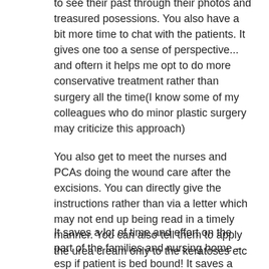to see their past through their photos and treasured posessions. You also have a bit more time to chat with the patients. It gives one too a sense of perspective... and oftern it helps me opt to do more conservative treatment rather than surgery all the time(I know some of my colleagues who do minor plastic surgery may criticize this approach)
You also get to meet the nurses and PCAs doing the wound care after the excisions. You can directly give the instructions rather than via a letter which may not end up being read in a timely manner. You can also tell them to apply the urea cream only to the keratoses etc
It saves a lot of time and effort on the part of the families and nursing home – esp if patient is bed bound! It saves a carer's time too.